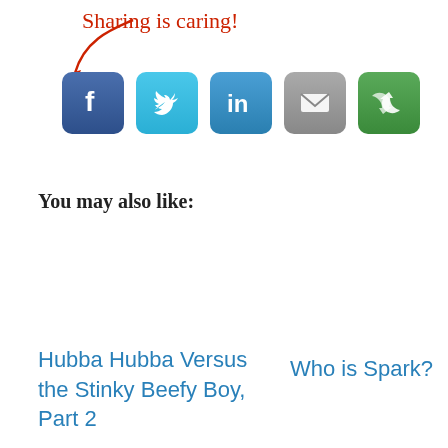[Figure (infographic): Social sharing buttons with 'Sharing is caring!' handwritten text in red with a curved arrow pointing to five social media icon buttons: Facebook (blue), Twitter (cyan), LinkedIn (blue), Email (gray), and a share/recycle icon (green).]
You may also like:
Hubba Hubba Versus the Stinky Beefy Boy, Part 2
Who is Spark?